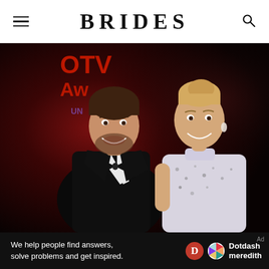BRIDES
[Figure (photo): A smiling couple at a formal event. A man in a tuxedo with bow tie and a woman in a sparkly sleeveless top pose together. Red and dark background with partial signage visible.]
We help people find answers, solve problems and get inspired. Dotdash meredith